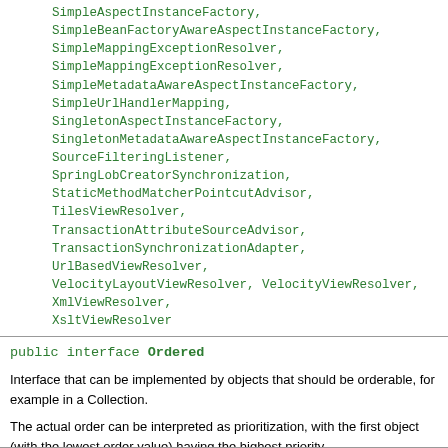SimpleAspectInstanceFactory, SimpleBeanFactoryAwareAspectInstanceFactory, SimpleMappingExceptionResolver, SimpleMappingExceptionResolver, SimpleMetadataAwareAspectInstanceFactory, SimpleUrlHandlerMapping, SingletonAspectInstanceFactory, SingletonMetadataAwareAspectInstanceFactory, SourceFilteringListener, SpringLobCreatorSynchronization, StaticMethodMatcherPointcutAdvisor, TilesViewResolver, TransactionAttributeSourceAdvisor, TransactionSynchronizationAdapter, UrlBasedViewResolver, VelocityLayoutViewResolver, VelocityViewResolver, XmlViewResolver, XsltViewResolver
public interface Ordered
Interface that can be implemented by objects that should be orderable, for example in a Collection.
The actual order can be interpreted as prioritization, with the first object (with the lowest order value) having the highest priority.
Note that there is a 'priority' marker for this interface: PriorityOrdered. Order values expressed by PriorityOrdered objects always apply before order values of 'plain' Ordered values.
Since: 07.04.2003 Author: Juergen Hoeller See Also: OrderComparator, Order